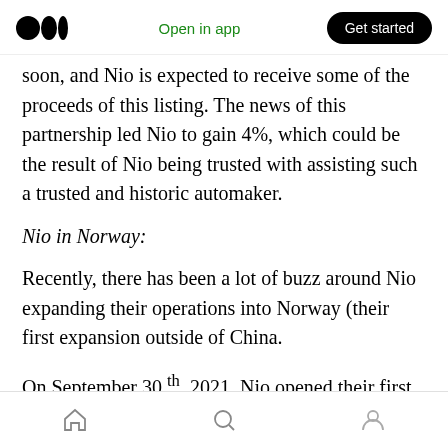Medium logo | Open in app | Get started
soon, and Nio is expected to receive some of the proceeds of this listing. The news of this partnership led Nio to gain 4%, which could be the result of Nio being trusted with assisting such a trusted and historic automaker.
Nio in Norway:
Recently, there has been a lot of buzz around Nio expanding their operations into Norway (their first expansion outside of China.
On September 30 th, 2021, Nio opened their first
Home | Search | Profile